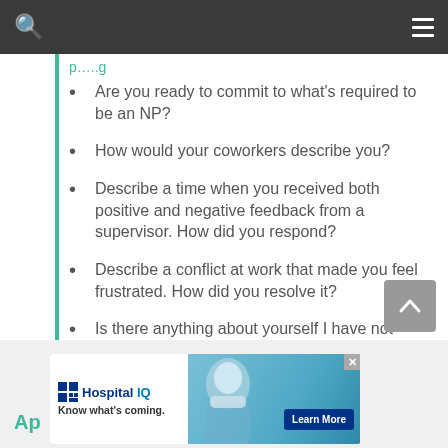[Navigation bar with search and menu icons]
Are you ready to commit to what's required to be an NP?
How would your coworkers describe you?
Describe a time when you received both positive and negative feedback from a supervisor. How did you respond?
Describe a conflict at work that made you feel frustrated. How did you resolve it?
Is there anything about yourself I have not asked that you think I should know?
[Figure (screenshot): Advertisement banner for Hospital IQ with logo, tagline 'Know what's coming.', photo of masked medical professional, and 'Learn More' button]